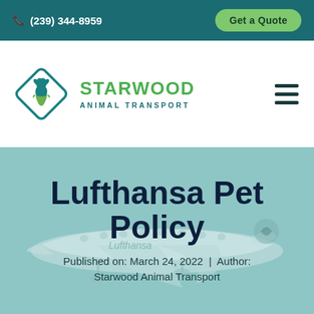(239) 344-8959  |  Get a Quote
[Figure (logo): Starwood Animal Transport logo: diamond shape with dog and cat silhouettes in teal and green, with 'STARWOOD ANIMAL TRANSPORT' text]
Lufthansa Pet Policy
Published on: March 24, 2022  |  Author: Starwood Animal Transport